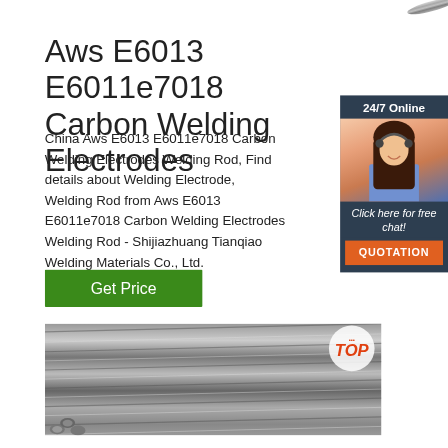[Figure (photo): Partial view of metal welding rod at top right corner]
Aws E6013 E6011e7018 Carbon Welding Electrodes
China Aws E6013 E6011e7018 Carbon Welding Electrodes Welding Rod, Find details about Welding Electrode, Welding Rod from Aws E6013 E6011e7018 Carbon Welding Electrodes Welding Rod - Shijiazhuang Tianqiao Welding Materials Co., Ltd.
[Figure (photo): Customer service agent with headset, 24/7 Online chat panel with QUOTATION button]
[Figure (photo): Get Price green button]
[Figure (photo): Product photo of metal welding rods/electrodes bundled together with TOP badge overlay]